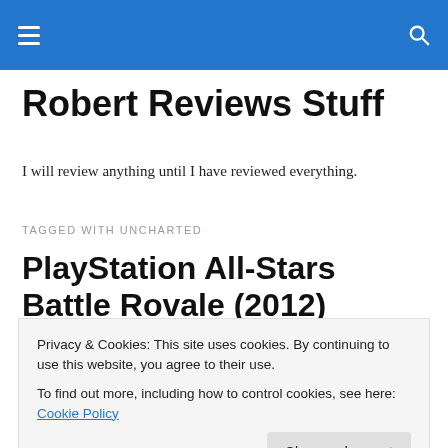Robert Reviews Stuff – navigation bar
Robert Reviews Stuff
I will review anything until I have reviewed everything.
TAGGED WITH UNCHARTED
PlayStation All-Stars Battle Rovale (2012)
Privacy & Cookies: This site uses cookies. By continuing to use this website, you agree to their use.
To find out more, including how to control cookies, see here: Cookie Policy
[Figure (infographic): PS Vita and PlayStation Network banner at bottom of page]